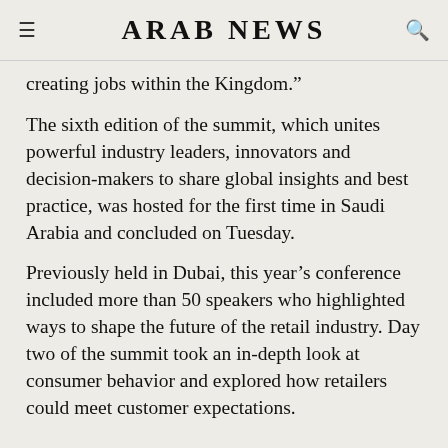ARAB NEWS
creating jobs within the Kingdom.”
The sixth edition of the summit, which unites powerful industry leaders, innovators and decision-makers to share global insights and best practice, was hosted for the first time in Saudi Arabia and concluded on Tuesday.
Previously held in Dubai, this year’s conference included more than 50 speakers who highlighted ways to shape the future of the retail industry. Day two of the summit took an in-depth look at consumer behavior and explored how retailers could meet customer expectations.